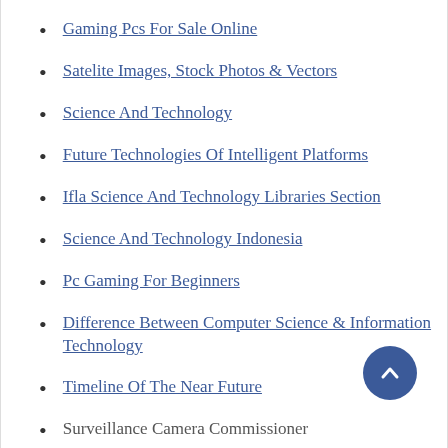Gaming Pcs For Sale Online
Satelite Images, Stock Photos & Vectors
Science And Technology
Future Technologies Of Intelligent Platforms
Ifla Science And Technology Libraries Section
Science And Technology Indonesia
Pc Gaming For Beginners
Difference Between Computer Science & Information Technology
Timeline Of The Near Future
Surveillance Camera Commissioner